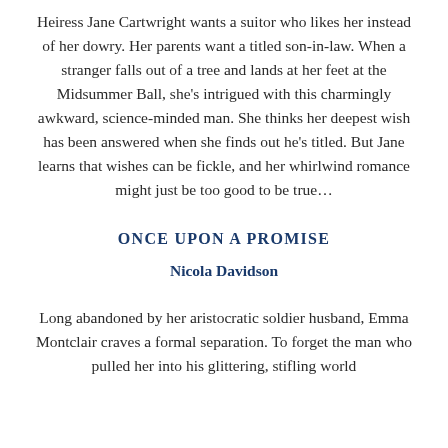Heiress Jane Cartwright wants a suitor who likes her instead of her dowry. Her parents want a titled son-in-law. When a stranger falls out of a tree and lands at her feet at the Midsummer Ball, she's intrigued with this charmingly awkward, science-minded man. She thinks her deepest wish has been answered when she finds out he's titled. But Jane learns that wishes can be fickle, and her whirlwind romance might just be too good to be true...
ONCE UPON A PROMISE
Nicola Davidson
Long abandoned by her aristocratic soldier husband, Emma Montclair craves a formal separation. To forget the man who pulled her into his glittering, stifling world